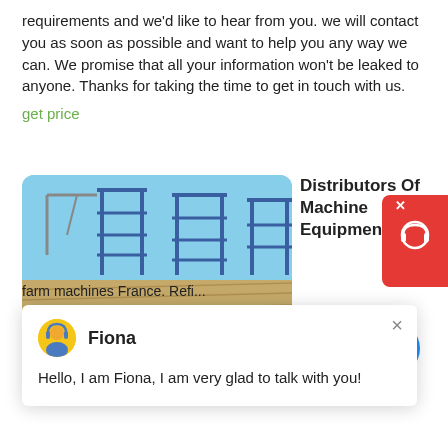requirements and we'd like to hear from you. we will contact you as soon as possible and want to help you any way we can. We promise that all your information won't be leaked to anyone. Thanks for taking the time to get in touch with us.
get price
[Figure (photo): Photo of agricultural machinery/scaffolding on a farm field with blue sky]
Distributors Of Machine Equipment Fo...
[Figure (screenshot): Chat widget popup with avatar of Fiona, close button X, and message: Hello, I am Fiona, I am very glad to talk with you!]
[Figure (infographic): Red Freshdesk support widget on right side with X close button]
[Figure (infographic): Blue notification circle with number 1]
farm machines France. Refi... search. Locate the companies on a map. BY country . Fra... Amiens and Picardy (5) Bordeaux and Aquitaine (8) Caen and Lower Normandy (1) Lille and Nord-Pas-de-Calais (3) Limoges and Limousin (1) Lyons and Rhone Alps (3) Metz and Lorraine (1) Nantes and Loire Valley (3) Orleans and Centre (3) Paris and Ile-de-France